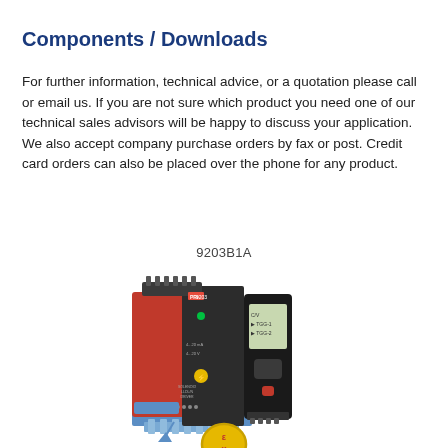Components / Downloads
For further information, technical advice, or a quotation please call or email us. If you are not sure which product you need one of our technical sales advisors will be happy to discuss your application. We also accept company purchase orders by fax or post. Credit card orders can also be placed over the phone for any product.
[Figure (photo): Product image of solenoid driver device 9203B1A — a red and black DIN-rail mounted unit with a display module beside it, showing the ATEX Ex certification logo at the bottom.]